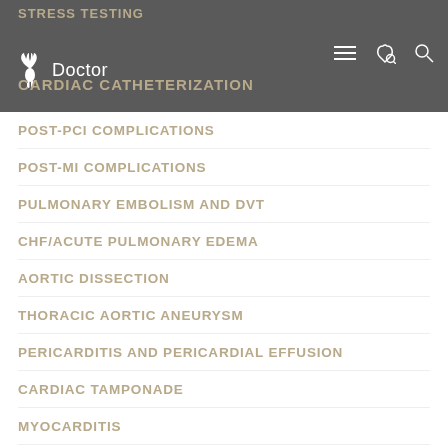STRESS TESTING
Doctor
CARDIAC CATHETERIZATION
POST-PCI COMPLICATIONS
POST-MI COMPLICATIONS
PULMONARY EMBOLISM AND DVT
CHF/ACUTE PULMONARY EDEMA
AORTIC DISSECTION
THORACIC AORTIC ANEURYSM
PERICARDITIS AND PERICARDIAL EFFUSION
CARDIAC TAMPONADE
MYOCARDITIS
SYNCOPE
HYPERTENSION AND HYPERTENSIVE EMERGENCIES
HYPOTENSION AND SHOCK
DYSRHYTHMIA